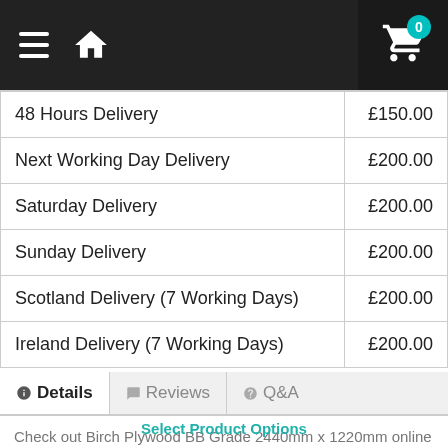Navigation header with hamburger menu, home icon, and cart (0 items)
| 48 Hours Delivery | £150.00 |
| Next Working Day Delivery | £200.00 |
| Saturday Delivery | £200.00 |
| Sunday Delivery | £200.00 |
| Scotland Delivery (7 Working Days) | £200.00 |
| Ireland Delivery (7 Working Days) | £200.00 |
Details | Reviews | Q&A
Select Product Options
Check out Birch Plywood BB Grade 2440mm x 1220mm online now. Delivery and collection is available nationwide to all customers. Log in too to order at great trade prices.
Buy This Now
E1 low omission